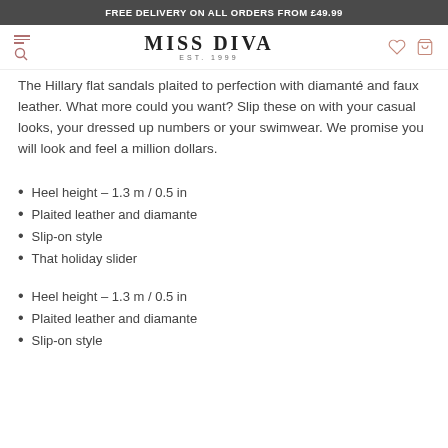FREE DELIVERY ON ALL ORDERS FROM £49.99
[Figure (logo): Miss Diva logo with EST. 1999 tagline, navigation icons (hamburger menu, search, heart, bag)]
The Hillary flat sandals plaited to perfection with diamanté and faux leather. What more could you want? Slip these on with your casual looks, your dressed up numbers or your swimwear. We promise you will look and feel a million dollars.
Heel height – 1.3 m / 0.5 in
Plaited leather and diamante
Slip-on style
That holiday slider
Heel height – 1.3 m / 0.5 in
Plaited leather and diamante
Slip-on style